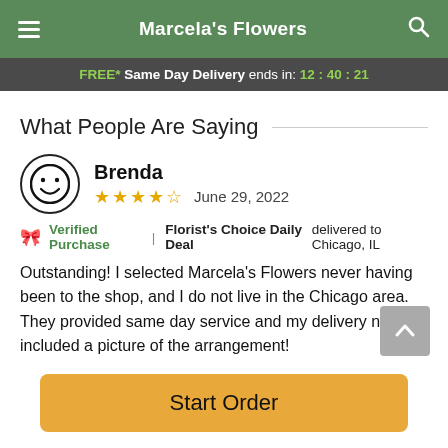Marcela's Flowers
FREE* Same Day Delivery ends in: 12:40:21
What People Are Saying
Brenda
★★★★☆   June 29, 2022
🎀 Verified Purchase  |  Florist's Choice Daily Deal delivered to Chicago, IL
Outstanding! I selected Marcela’s Flowers never having been to the shop, and I do not live in the Chicago area. They provided same day service and my delivery notice included a picture of the arrangement!
Start Order